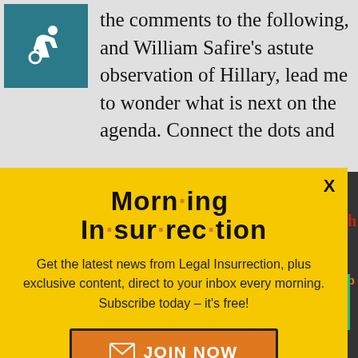[Figure (logo): Wheelchair accessibility icon in white on teal background]
the comments to the following, and William Safire's astute observation of Hillary, lead me to wonder what is next on the agenda. Connect the dots and
[Figure (infographic): Yellow modal popup - Morning Insurrection newsletter signup with orange JOIN NOW button]
I don't know if it was congenital, or
[Figure (infographic): Fiverr advertisement - Working from home? Get your projects done on fiverr]
But I think it is reasonable to